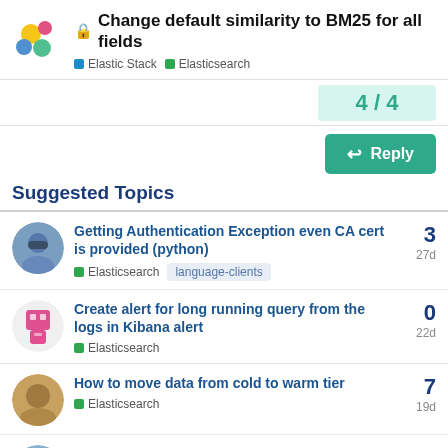Change default similarity to BM25 for all fields — Elastic Stack > Elasticsearch
4 / 4
Reply
Suggested Topics
Getting Authentication Exception even CA cert is provided (python) — Elasticsearch, language-clients — 3 replies — 27d
Create alert for long running query from the logs in Kibana alert — Elasticsearch — 0 replies — 22d
How to move data from cold to warm tier — Elasticsearch — 7 replies — 19d
Percolator query fields migration from — 0 replies